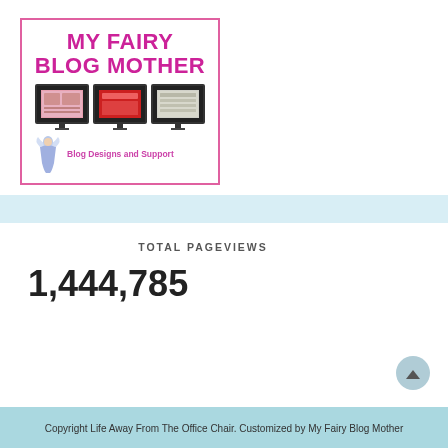[Figure (logo): My Fairy Blog Mother logo with pink border, large pink text title 'MY FAIRY BLOG MOTHER', three monitor screenshots, a fairy figure, and text 'Blog Designs and Support']
TOTAL PAGEVIEWS
1,444,785
Copyright Life Away From The Office Chair. Customized by My Fairy Blog Mother